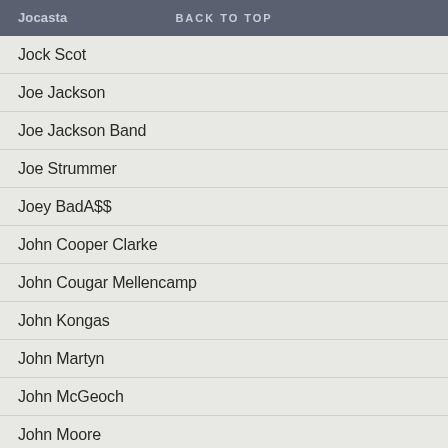Jocasta  BACK TO TOP
Jock Scot
Joe Jackson
Joe Jackson Band
Joe Strummer
Joey BadA$$
John Cooper Clarke
John Cougar Mellencamp
John Kongas
John Martyn
John McGeoch
John Moore
John Parish & Polly Jean Harvey